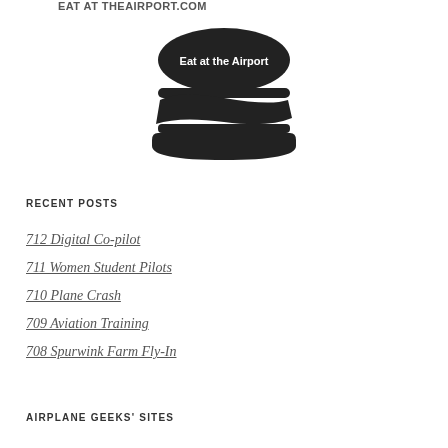EAT AT THEAIRPORT.COM
[Figure (logo): Burger logo with text 'Eat at the Airport' — dark/black stylized hamburger icon on white background]
RECENT POSTS
712 Digital Co-pilot
711 Women Student Pilots
710 Plane Crash
709 Aviation Training
708 Spurwink Farm Fly-In
AIRPLANE GEEKS' SITES